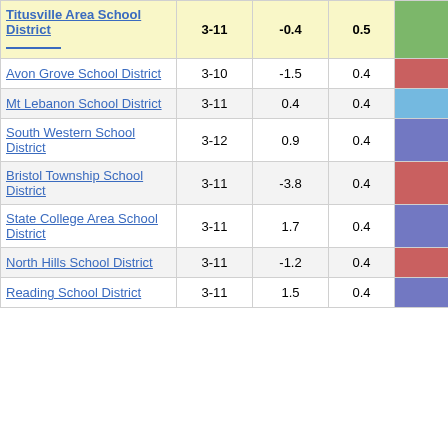| District | Grades | Col1 | Col2 | Score |
| --- | --- | --- | --- | --- |
| Titusville Area School District | 3-11 | -0.4 | 0.5 | -0.72 |
| Avon Grove School District | 3-10 | -1.5 | 0.4 | -4.12 |
| Mt Lebanon School District | 3-11 | 0.4 | 0.4 | 1.19 |
| South Western School District | 3-12 | 0.9 | 0.4 | 2.41 |
| Bristol Township School District | 3-11 | -3.8 | 0.4 | -10.35 |
| State College Area School District | 3-11 | 1.7 | 0.4 | 4.53 |
| North Hills School District | 3-11 | -1.2 | 0.4 | -3.31 |
| Reading School District | 3-11 | 1.5 | 0.4 | 4.16 |